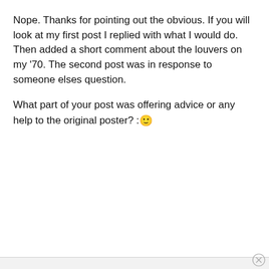Nope. Thanks for pointing out the obvious. If you will look at my first post I replied with what I would do. Then added a short comment about the louvers on my '70. The second post was in response to someone elses question.

What part of your post was offering advice or any help to the original poster? :🙂